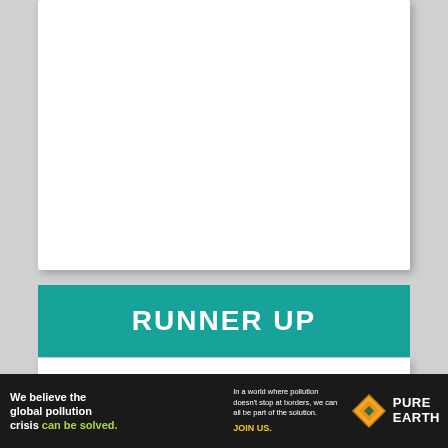[Figure (other): Top white card area (partially visible product image area)]
RUNNER UP
MOSISO Camera Sling Bag
[Figure (other): 4 out of 5 stars rating shown with gold star icons]
[Figure (other): Pure Earth advertisement banner: We believe the global pollution crisis can be solved. In a world where pollution doesn't stop at borders, we can all be part of the solution. JOIN US.]